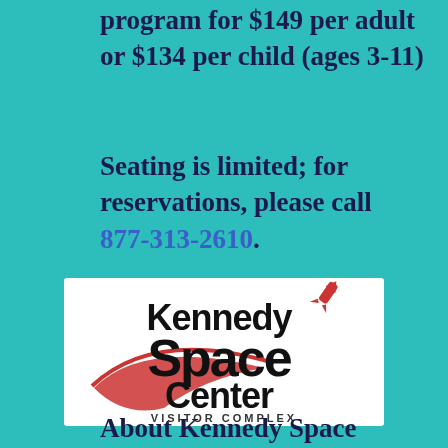program for $149 per adult or $134 per child (ages 3-11)
Seating is limited; for reservations, please call 877-313-2610.
[Figure (logo): Kennedy Space Center Visitor Complex logo with rocket graphic and swoosh]
About Kennedy Space Center Visitor